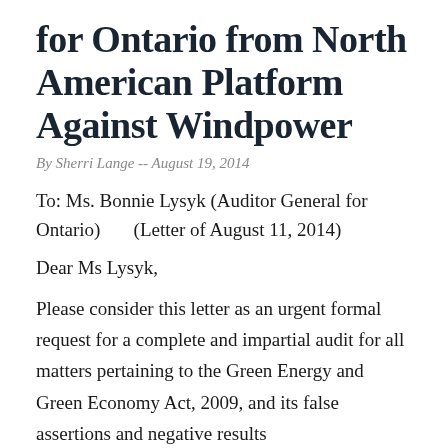for Ontario from North American Platform Against Windpower
By Sherri Lange -- August 19, 2014
To: Ms. Bonnie Lysyk (Auditor General for Ontario)       (Letter of August 11, 2014)
Dear Ms Lysyk,
Please consider this letter as an urgent formal request for a complete and impartial audit for all matters pertaining to the Green Energy and Green Economy Act, 2009, and its false assertions and negative results